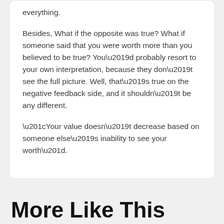everything.
Besides, What if the opposite was true? What if someone said that you were worth more than you believed to be true? You’d probably resort to your own interpretation, because they don’t see the full picture. Well, that’s true on the negative feedback side, and it shouldn’t be any different.
“Your value doesn’t decrease based on someone else’s inability to see your worth”.
More Like This